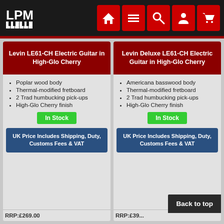[Figure (logo): LPM logo in white on dark background]
Levin LE61-CH Electric Guitar in High-Glo Cherry
Poplar wood body
Thermal-modified fretboard
2 Trad humbucking pick-ups
High-Glo Cherry finish
In Stock
UK Price Includes Shipping, Duty, Customs Fees & VAT
Levin Deluxe LE61-CH Electric Guitar in High-Glo Cherry
Americana basswood body
Thermal-modified fretboard
2 Trad humbucking pick-ups
High-Glo Cherry finish
In Stock
UK Price Includes Shipping, Duty, Customs Fees & VAT
Back to top
RRP:£269.00
RRP:£39...